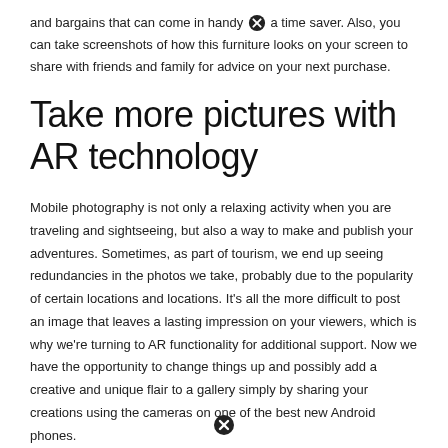and bargains that can come in handy [icon] a time saver. Also, you can take screenshots of how this furniture looks on your screen to share with friends and family for advice on your next purchase.
Take more pictures with AR technology
Mobile photography is not only a relaxing activity when you are traveling and sightseeing, but also a way to make and publish your adventures. Sometimes, as part of tourism, we end up seeing redundancies in the photos we take, probably due to the popularity of certain locations and locations. It's all the more difficult to post an image that leaves a lasting impression on your viewers, which is why we're turning to AR functionality for additional support. Now we have the opportunity to change things up and possibly add a creative and unique flair to a gallery simply by sharing your creations using the cameras on one of the best new Android phones.